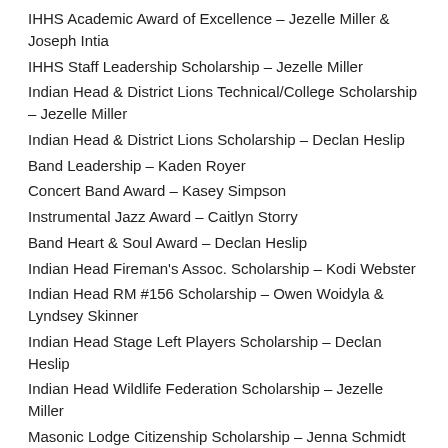IHHS Academic Award of Excellence – Jezelle Miller & Joseph Intia
IHHS Staff Leadership Scholarship – Jezelle Miller
Indian Head & District Lions Technical/College Scholarship – Jezelle Miller
Indian Head & District Lions Scholarship – Declan Heslip
Band Leadership – Kaden Royer
Concert Band Award – Kasey Simpson
Instrumental Jazz Award – Caitlyn Storry
Band Heart & Soul Award – Declan Heslip
Indian Head Fireman's Assoc. Scholarship – Kodi Webster
Indian Head RM #156 Scholarship – Owen Woidyla & Lyndsey Skinner
Indian Head Stage Left Players Scholarship – Declan Heslip
Indian Head Wildlife Federation Scholarship – Jezelle Miller
Masonic Lodge Citizenship Scholarship – Jenna Schmidt
Paul Bisram Award – Chase McNabb